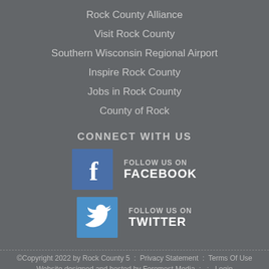Rock County Alliance
Visit Rock County
Southern Wisconsin Regional Airport
Inspire Rock County
Jobs in Rock County
County of Rock
CONNECT WITH US
[Figure (logo): Facebook logo icon — blue square with white 'f', text: FOLLOW US ON FACEBOOK]
[Figure (logo): Twitter logo icon — blue square with white bird, text: FOLLOW US ON TWITTER]
©Copyright 2022 by Rock County 5  :  Privacy Statement  :  Terms Of Use
Website designed and hosted by Foremost Media  :  :  Login